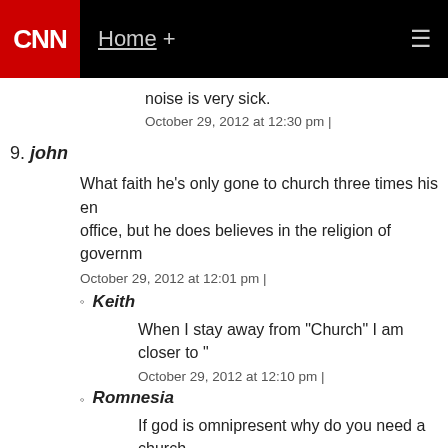CNN | Home +
noise is very sick.
October 29, 2012 at 12:30 pm |
9. john
What faith he's only gone to church three times his entire time in office, but he does believes in the religion of government.
October 29, 2012 at 12:01 pm |
Keith
When I stay away from "Church" I am closer to "
October 29, 2012 at 12:10 pm |
Romnesia
If god is omnipresent why do you need a church
October 29, 2012 at 12:18 pm |
10. Atheism is not healthy for children and other living